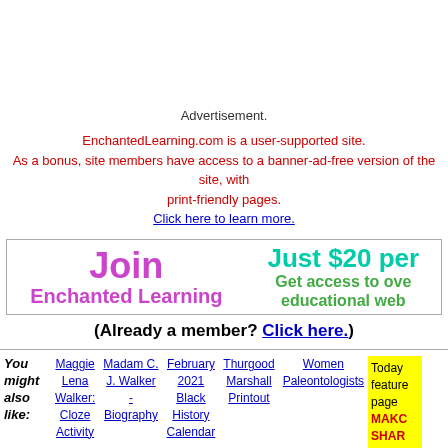Advertisement.
EnchantedLearning.com is a user-supported site. As a bonus, site members have access to a banner-ad-free version of the site, with print-friendly pages. Click here to learn more.
[Figure (other): Join Enchanted Learning promotional box with 'Just $20 per...' and 'Get access to over... educational web...']
(Already a member? Click here.)
You might also like:
Maggie Lena Walker: Cloze Activity
Madam C. J. Walker - Biography
February 2021 Black History Calendar
Thurgood Marshall Printout
Women Paleontologists
Today featured page MAKC SHAR